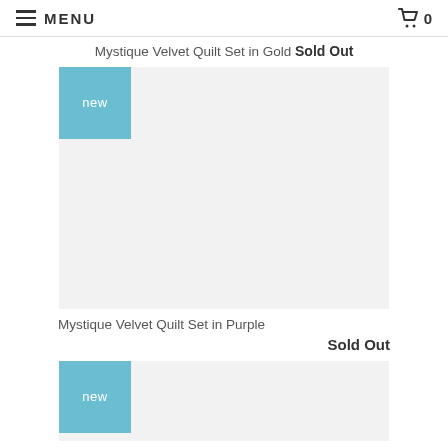MENU | 0
Mystique Velvet Quilt Set in Gold Sold Out
[Figure (photo): Product image placeholder for Mystique Velvet Quilt Set in Purple, light gray rectangle with a blue 'new' badge in the top-left corner]
Mystique Velvet Quilt Set in Purple
Sold Out
[Figure (photo): Partial product image placeholder with a blue 'new' badge in the top-left corner, light gray background, partially visible at bottom of page]